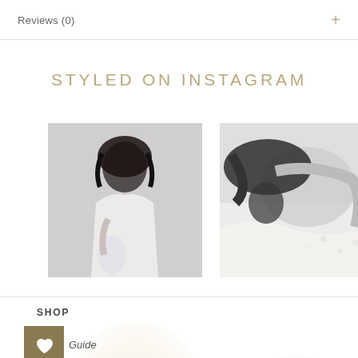Reviews (0)
STYLED ON INSTAGRAM
[Figure (photo): Black and white photo of a woman with curly hair in a white dress holding flowers]
[Figure (photo): Black and white photo of a person lying down, close-up intimate shot]
SHOP
Guide